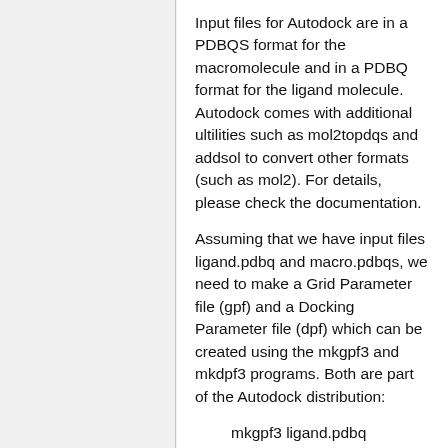Input files for Autodock are in a PDBQS format for the macromolecule and in a PDBQ format for the ligand molecule. Autodock comes with additional ultilities such as mol2topdqs and addsol to convert other formats (such as mol2). For details, please check the documentation.
Assuming that we have input files ligand.pdbq and macro.pdbqs, we need to make a Grid Parameter file (gpf) and a Docking Parameter file (dpf) which can be created using the mkgpf3 and mkdpf3 programs. Both are part of the Autodock distribution:
mkgpf3 ligand.pdbq